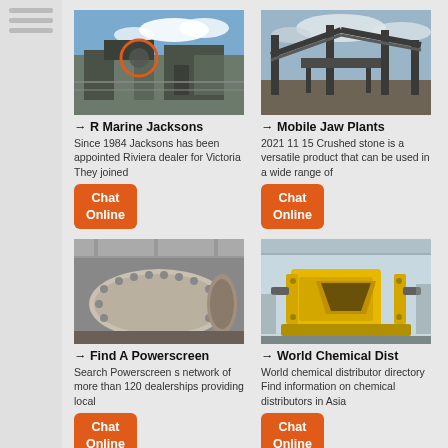[Figure (photo): Industrial crusher or jaw machine with orange circular component highlighted, outdoor industrial site with blue sky]
→ R Marine Jacksons
Since 1984 Jacksons has been appointed Riviera dealer for Victoria They joined
Chat Online
[Figure (photo): Large industrial conveyor and screening plant structure outdoors on a cloudy day]
→ Mobile Jaw Plants
2021 11 15 Crushed stone is a versatile product that can be used in a wide range of
Chat Online
[Figure (photo): Large industrial ball mill or drum grinder in a factory setting]
→ Find A Powerscreen
Search Powerscreen s network of more than 120 dealerships providing local
Chat Online
[Figure (photo): Yellow jaw crusher machine in an industrial factory/warehouse setting]
→ World Chemical Dist
World chemical distributor directory Find information on chemical distributors in Asia
Chat Online